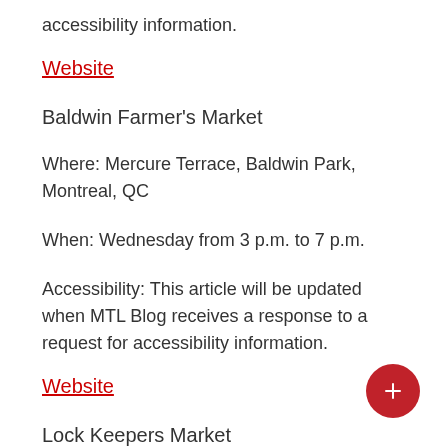accessibility information.
Website
Baldwin Farmer's Market
Where: Mercure Terrace, Baldwin Park, Montreal, QC
When: Wednesday from 3 p.m. to 7 p.m.
Accessibility: This article will be updated when MTL Blog receives a response to a request for accessibility information.
Website
Lock Keepers Market
Where: 400, rue de la Commune W.